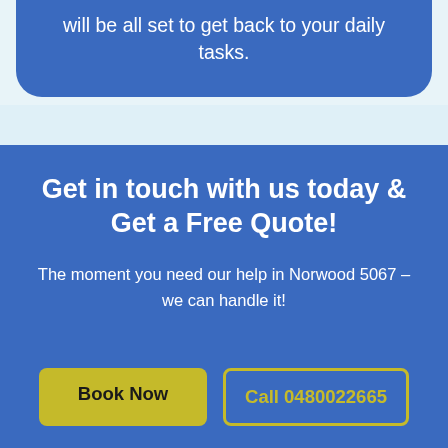will be all set to get back to your daily tasks.
Get in touch with us today & Get a Free Quote!
The moment you need our help in Norwood 5067 – we can handle it!
Book Now
Call 0480022665